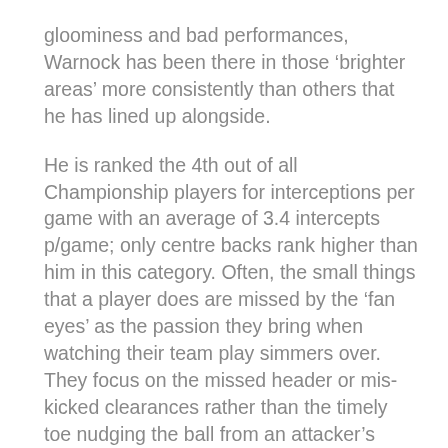gloominess and bad performances, Warnock has been there in those ‘brighter areas’ more consistently than others that he has lined up alongside.
He is ranked the 4th out of all Championship players for interceptions per game with an average of 3.4 intercepts p/game; only centre backs rank higher than him in this category. Often, the small things that a player does are missed by the ‘fan eyes’ as the passion they bring when watching their team play simmers over. They focus on the missed header or mis-kicked clearances rather than the timely toe nudging the ball from an attacker’s